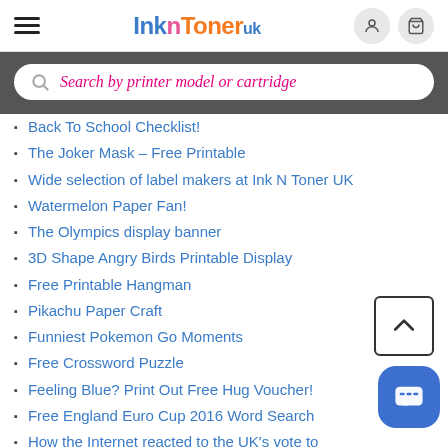InknToner UK — navigation header with hamburger menu, logo, user icon, cart icon
[Figure (screenshot): Search bar with placeholder text 'Search by printer model or cartridge' on dark grey background]
Back To School Checklist!
The Joker Mask – Free Printable
Wide selection of label makers at Ink N Toner UK
Watermelon Paper Fan!
The Olympics display banner
3D Shape Angry Birds Printable Display
Free Printable Hangman
Pikachu Paper Craft
Funniest Pokemon Go Moments
Free Crossword Puzzle
Feeling Blue? Print Out Free Hug Voucher!
Free England Euro Cup 2016 Word Search
How the Internet reacted to the UK's vote to leave the EU?
Guess The Euro 2016 Flags
Printable Father's Day Card
Make an Origami Football for the Euro 2016
Free Euro 2016 Wall Chart – Download or Print